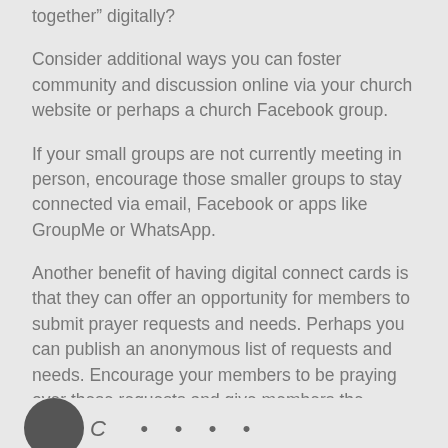together” digitally?
Consider additional ways you can foster community and discussion online via your church website or perhaps a church Facebook group.
If your small groups are not currently meeting in person, encourage those smaller groups to stay connected via email, Facebook or apps like GroupMe or WhatsApp.
Another benefit of having digital connect cards is that they can offer an opportunity for members to submit prayer requests and needs. Perhaps you can publish an anonymous list of requests and needs. Encourage your members to be praying over these requests and give members the opportunity to help meet one another’s needs.
[Figure (other): Partial circle icon and decorative italic text at bottom of page]